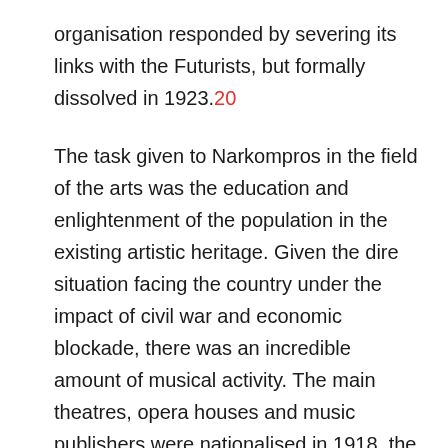organisation responded by severing its links with the Futurists, but formally dissolved in 1923.20
The task given to Narkompros in the field of the arts was the education and enlightenment of the population in the existing artistic heritage. Given the dire situation facing the country under the impact of civil war and economic blockade, there was an incredible amount of musical activity. The main theatres, opera houses and music publishers were nationalised in 1918, the music conservatories were made state institutions, and all orchestras and choirs were brought under state control and funded. Despite the extreme privations, orchestral concerts performing the classical repertoire continued throughout the civil war, the composition of their audiences now transformed by the distribution of tickets